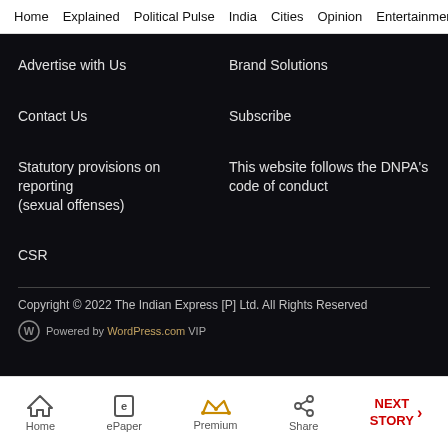Home  Explained  Political Pulse  India  Cities  Opinion  Entertainment
Advertise with Us
Brand Solutions
Contact Us
Subscribe
Statutory provisions on reporting (sexual offenses)
This website follows the DNPA's code of conduct
CSR
Copyright © 2022 The Indian Express [P] Ltd. All Rights Reserved
Powered by WordPress.com VIP
Home  ePaper  Premium  Share  NEXT STORY →